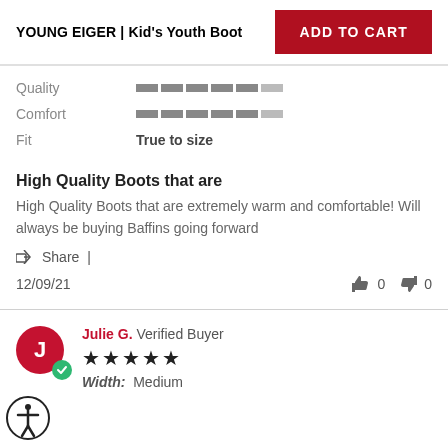YOUNG EIGER | Kid's Youth Boot
ADD TO CART
Quality [rating bars]
Comfort [rating bars]
Fit: True to size
High Quality Boots that are
High Quality Boots that are extremely warm and comfortable! Will always be buying Baffins going forward
Share |
12/09/21
0  0
Julie G. Verified Buyer ★★★★★ Width: Medium